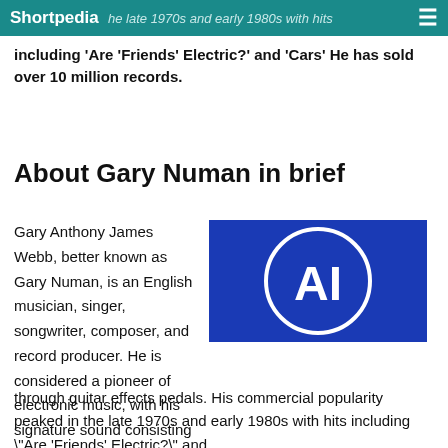Shortpedia
including 'Are 'Friends' Electric?' and 'Cars' He has sold over 10 million records.
About Gary Numan in brief
Gary Anthony James Webb, better known as Gary Numan, is an English musician, singer, songwriter, composer, and record producer. He is considered a pioneer of electronic music, with his signature sound consisting of heavy synthesiser hooks fed through guitar effects pedals. His commercial popularity peaked in the late 1970s and early 1980s with hits including "Are 'Friends' Electric?" and
[Figure (logo): Blue square with a white circle containing the letters AI in white bold text]